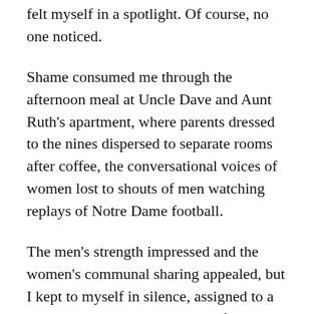felt myself in a spotlight. Of course, no one noticed.
Shame consumed me through the afternoon meal at Uncle Dave and Aunt Ruth's apartment, where parents dressed to the nines dispersed to separate rooms after coffee, the conversational voices of women lost to shouts of men watching replays of Notre Dame football.
The men's strength impressed and the women's communal sharing appealed, but I kept to myself in silence, assigned to a playroom as I sought adult comfort in vain – and with religion a fraught topic at home, where Dad's atheism vetoed Mom's yearnings, there would be no balm in Gilead.
Father Robert Rappelyea, a probationary priest from the Bronx, declared himself a Knicks fan when Mom